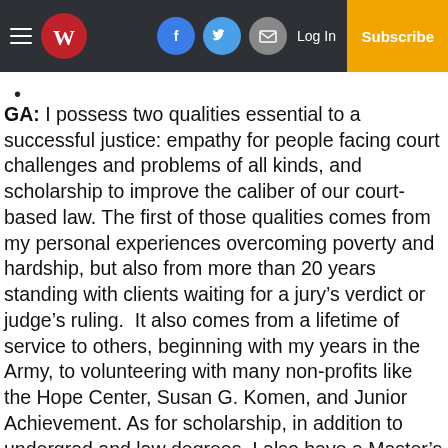W [newspaper logo] | Facebook | Twitter | Email | Log In | Subscribe
GA: I possess two qualities essential to a successful justice: empathy for people facing court challenges and problems of all kinds, and scholarship to improve the caliber of our court-based law. The first of those qualities comes from my personal experiences overcoming poverty and hardship, but also from more than 20 years standing with clients waiting for a jury's verdict or judge's ruling.  It also comes from a lifetime of service to others, beginning with my years in the Army, to volunteering with many non-profits like the Hope Center, Susan G. Komen, and Junior Achievement. As for scholarship, in addition to undergrad and law degrees, I also have a Master's degree in American